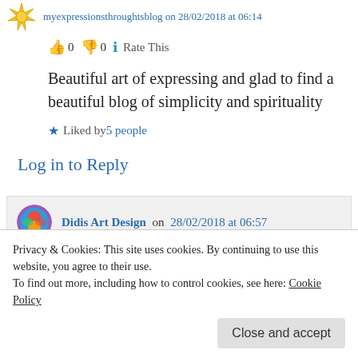myexpressionsthroughtsblog on 28/02/2018 at 06:14
👍 0 👎 0 ℹ Rate This
Beautiful art of expressing and glad to find a beautiful blog of simplicity and spirituality
★ Liked by 5 people
Log in to Reply
Didis Art Design on 28/02/2018 at 06:57
👍 0 🖼 0 ℹ Rate This
★ Liked by 2 people
Privacy & Cookies: This site uses cookies. By continuing to use this website, you agree to their use.
To find out more, including how to control cookies, see here: Cookie Policy